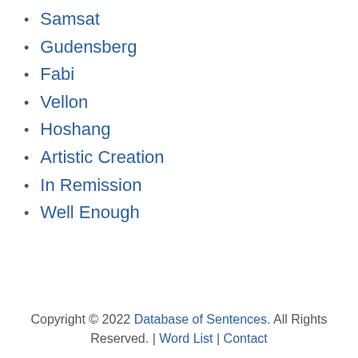Samsat
Gudensberg
Fabi
Vellon
Hoshang
Artistic Creation
In Remission
Well Enough
Copyright © 2022 Database of Sentences. All Rights Reserved. | Word List | Contact